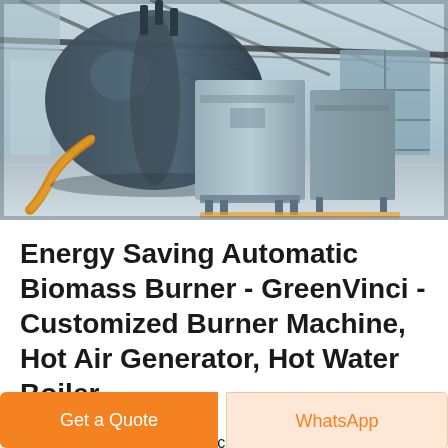[Figure (photo): Industrial interior of a factory or warehouse showing large biomass boiler/burner equipment. A large dark cylindrical boiler is visible on the left with a yellow/orange flexible hose. Grey rectangular equipment units are in the center and right. Steel roof trusses and a large garage door are visible in the background. The floor is polished concrete.]
Energy Saving Automatic Biomass Burner - GreenVinci - Customized Burner Machine, Hot Air Generator, Hot Water Boiler...
Rice Husk Burner GreenVinci's rice husk burner machine can